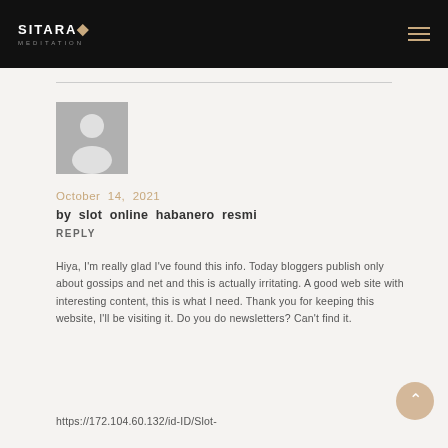SITARA MEDITATION
[Figure (illustration): Default avatar placeholder image - gray square with white silhouette of a person]
October 14, 2021
by slot online habanero resmi
REPLY
Hiya, I'm really glad I've found this info. Today bloggers publish only about gossips and net and this is actually irritating. A good web site with interesting content, this is what I need. Thank you for keeping this website, I'll be visiting it. Do you do newsletters? Can't find it.
https://172.104.60.132/id-ID/Slot-